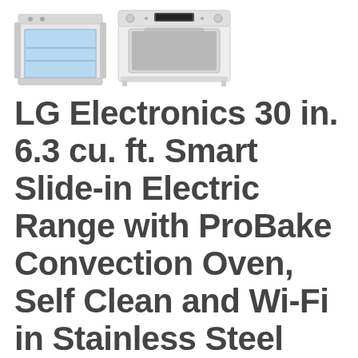[Figure (photo): Two product images of LG electric range ovens: one showing the oven with door open revealing blue interior, and one showing the full slide-in range from the front with control panel visible at top]
LG Electronics 30 in. 6.3 cu. ft. Smart Slide-in Electric Range with ProBake Convection Oven, Self Clean and Wi-Fi in Stainless Steel
$2,299.00 $1,899.00